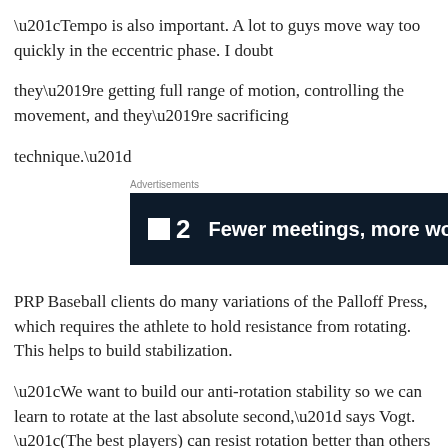“Tempo is also important. A lot to guys move way too quickly in the eccentric phase. I doubt

they’re getting full range of motion, controlling the movement, and they’re sacrificing

technique.”
[Figure (other): Advertisement banner for a software product. Dark navy background with white logo (small white square followed by '2') and bold white text: 'Fewer meetings, more work.']
PRP Baseball clients do many variations of the Palloff Press, which requires the athlete to hold resistance from rotating. This helps to build stabilization.
“We want to build our anti-rotation stability so we can learn to rotate at the last absolute second,” says Vogt. “(The best players) can resist rotation better than others to create more